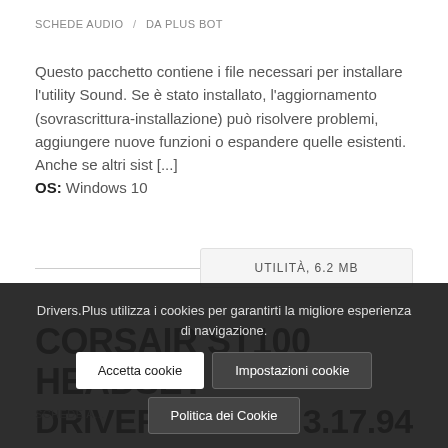SCHEDE AUDIO / DA PLUS BOT
Questo pacchetto contiene i file necessari per installare l'utility Sound. Se è stato installato, l'aggiornamento (sovrascrittura-installazione) può risolvere problemi, aggiungere nuove funzioni o espandere quelle esistenti. Anche se altri sist [...] OS: Windows 10
UTILITÀ, 6.2 MB
CORSAIR ST100 HEADSET DRIVER/UTILITY 3.17.94
SCHEDE A...
CORSAIR LINK and CUE users If you are currently using CORSAIR LINK you must update to the late... version (Corsair Link Software v4.9.619 or newer). If you are using CUE
Drivers.Plus utilizza i cookies per garantirti la migliore esperienza di navigazione.
Accetta cookie
Impostazioni cookie
Politica dei Cookie